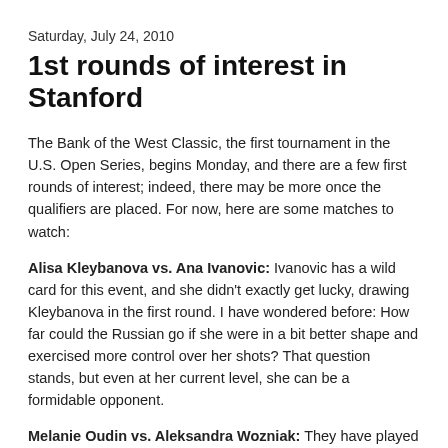Saturday, July 24, 2010
1st rounds of interest in Stanford
The Bank of the West Classic, the first tournament in the U.S. Open Series, begins Monday, and there are a few first rounds of interest; indeed, there may be more once the qualifiers are placed. For now, here are some matches to watch:
Alisa Kleybanova vs. Ana Ivanovic: Ivanovic has a wild card for this event, and she didn't exactly get lucky, drawing Kleybanova in the first round. I have wondered before: How far could the Russian go if she were in a bit better shape and exercised more control over her shots? That question stands, but even at her current level, she can be a formidable opponent.
Melanie Oudin vs. Aleksandra Wozniak: They have played each other only once, in Charleston, and Oudin won decisively. Wozniack, a former Stanford champion, has